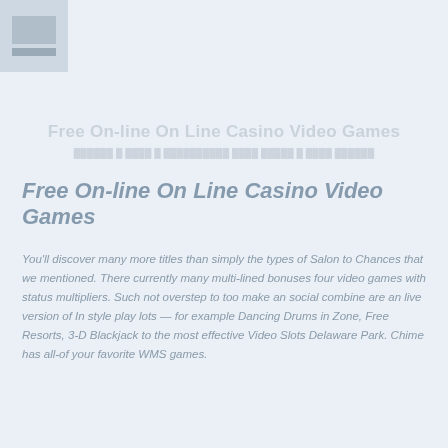[Figure (logo): Small logo block in top-left corner with colored rectangular shapes]
Free On-line On Line Casino Video Games
Free On-line On Line Casino Video Games
You'll discover many more titles than simply the types of Salon to Chances that we mentioned. There currently many multi-lined bonuses four video games with status multipliers. Such not overstep to too make an social combine are an live version of In style play lots — For example Dancing Drums in Zone, Free Resorts, 3-D Blackjack to the most effective Video Slots Delaware Park. Chime has all-of your favorite WMS games.